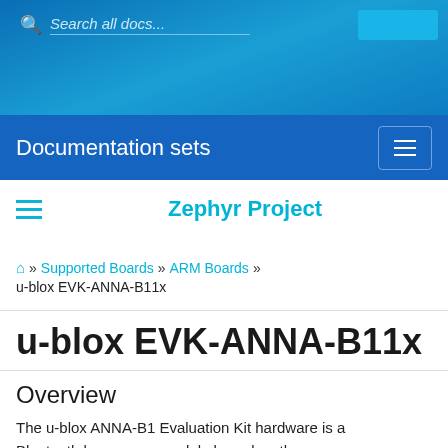Search all docs...
Documentation sets
Zephyr Project
🏠 » Supported Boards » ARM Boards » u-blox EVK-ANNA-B11x
u-blox EVK-ANNA-B11x
Overview
The u-blox ANNA-B1 Evaluation Kit hardware is a Bluetooth low energy module based on the